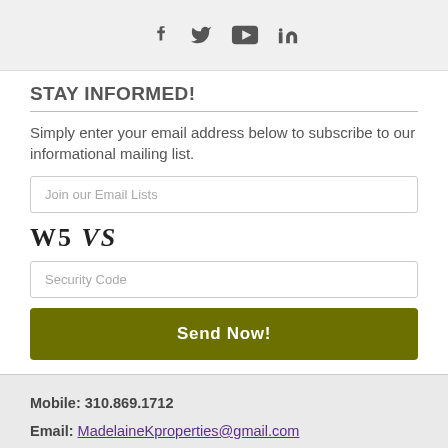[Figure (illustration): Social media icons: Facebook, Twitter, YouTube, LinkedIn]
STAY INFORMED!
Simply enter your email address below to subscribe to our informational mailing list.
[Figure (other): Email input field with placeholder 'Join our Email Lists']
[Figure (other): CAPTCHA image showing 'W5 VS']
[Figure (other): Security code input field with placeholder 'Security Code']
[Figure (other): Send Now! button]
Mobile: 310.869.1712
Email: MadelaineKproperties@gmail.com
Madelaine Kolispyk